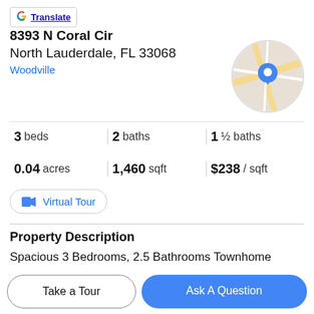[Figure (screenshot): Google Translate button with Google G logo]
8393 N Coral Cir
North Lauderdale, FL 33068
Woodville
[Figure (map): Circular map thumbnail with a blue location pin marker]
3 beds   2 baths   1 ½ baths
0.04 acres   1,460 sqft   $238 / sqft
[Figure (screenshot): Virtual Tour button with video camera icon]
Property Description
Spacious 3 Bedrooms, 2.5 Bathrooms Townhome located in Village of Coral Lake/Woodville Community in North Lauderdale. Low monthly HOA. Tiled throughout.
Upgraded kitchen cabinets. Stainless Steel appliances
Take a Tour
Ask A Question